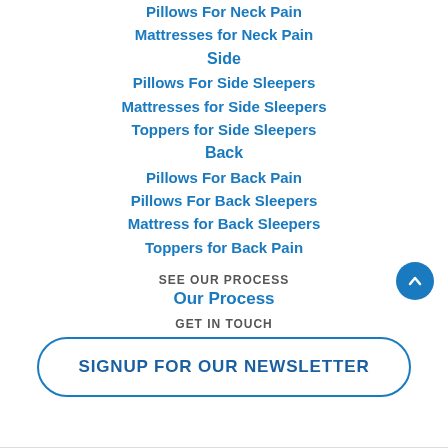Pillows For Neck Pain
Mattresses for Neck Pain
Side
Pillows For Side Sleepers
Mattresses for Side Sleepers
Toppers for Side Sleepers
Back
Pillows For Back Pain
Pillows For Back Sleepers
Mattress for Back Sleepers
Toppers for Back Pain
SEE OUR PROCESS
Our Process
GET IN TOUCH
SIGNUP FOR OUR NEWSLETTER